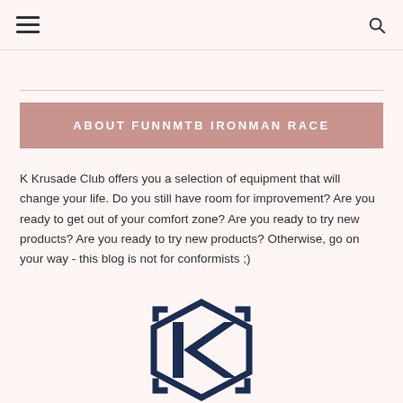[hamburger menu icon] [search icon]
ABOUT FUNNMTB IRONMAN RACE
K Krusade Club offers you a selection of equipment that will change your life. Do you still have room for improvement? Are you ready to get out of your comfort zone? Are you ready to try new products? Are you ready to try new products? Otherwise, go on your way - this blog is not for conformists ;)
[Figure (logo): K Krusade Club logo — stylized letter K inside a hexagon shape, dark navy blue color]